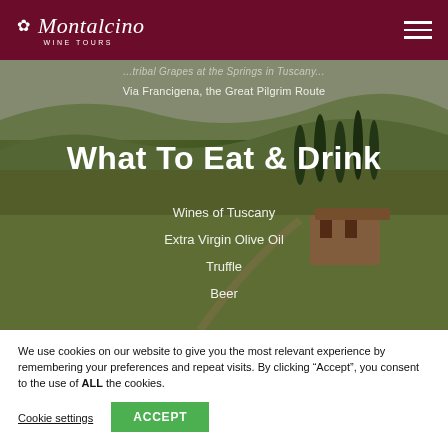Montalcino WINE TOURS
[Figure (photo): Aerial view of Tuscan countryside with vineyards, cypress trees, and a terracotta-roofed farmhouse]
...tribal Grapes at the Springs in Tuscany...
Via Francigena, the Great Pilgrim Route
What To Eat & Drink
Wines of Tuscany
Extra Virgin Olive Oil
Truffle
Beer
We use cookies on our website to give you the most relevant experience by remembering your preferences and repeat visits. By clicking “Accept”, you consent to the use of ALL the cookies.
Cookie settings
ACCEPT